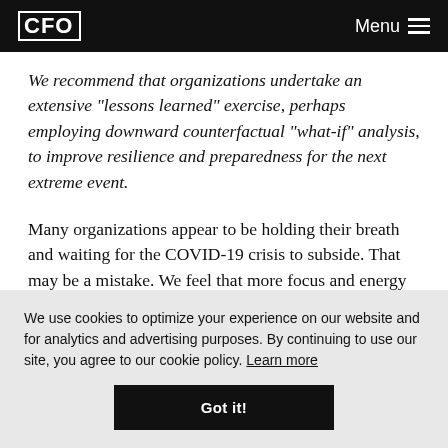CFO | Menu
We recommend that organizations undertake an extensive “lessons learned” exercise, perhaps employing downward counterfactual “what-if” analysis, to improve resilience and preparedness for the next extreme event.
Many organizations appear to be holding their breath and waiting for the COVID-19 crisis to subside. That may be a mistake. We feel that more focus and energy needs to
We use cookies to optimize your experience on our website and for analytics and advertising purposes. By continuing to use our site, you agree to our cookie policy. Learn more
Got it!